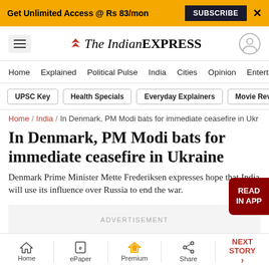Get Unlimited Access @ Rs 83/mon  SUBSCRIBE  X
The Indian EXPRESS
Home / Explained / Political Pulse / India / Cities / Opinion / Entertainment
UPSC Key | Health Specials | Everyday Explainers | Movie Reviews
Home / India / In Denmark, PM Modi bats for immediate ceasefire in Ukr...
In Denmark, PM Modi bats for immediate ceasefire in Ukraine
Denmark Prime Minister Mette Frederiksen expresses hope that India will use its influence over Russia to end the war.
ADVERTISEMENT
Home  ePaper  Premium  Share  NEXT STORY